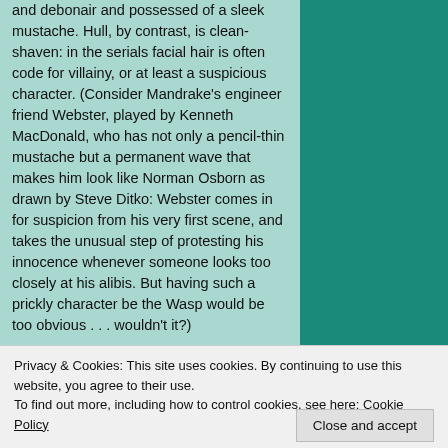and debonair and possessed of a sleek mustache. Hull, by contrast, is clean-shaven: in the serials facial hair is often code for villainy, or at least a suspicious character. (Consider Mandrake's engineer friend Webster, played by Kenneth MacDonald, who has not only a pencil-thin mustache but a permanent wave that makes him look like Norman Osborn as drawn by Steve Ditko: Webster comes in for suspicion from his very first scene, and takes the unusual step of protesting his innocence whenever someone looks too closely at his alibis. But having such a prickly character be the Wasp would be too obvious . . . wouldn't it?)
Privacy & Cookies: This site uses cookies. By continuing to use this website, you agree to their use. To find out more, including how to control cookies, see here: Cookie Policy
Close and accept